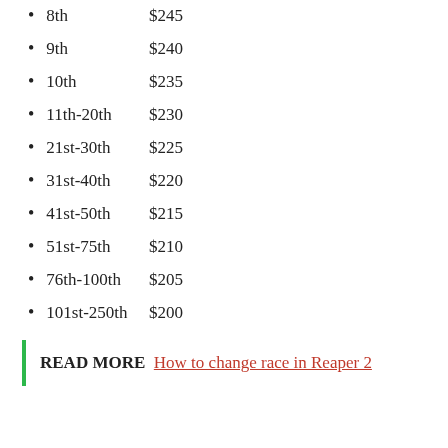8th    $245
9th    $240
10th    $235
11th-20th    $230
21st-30th    $225
31st-40th    $220
41st-50th    $215
51st-75th    $210
76th-100th    $205
101st-250th    $200
READ MORE  How to change race in Reaper 2